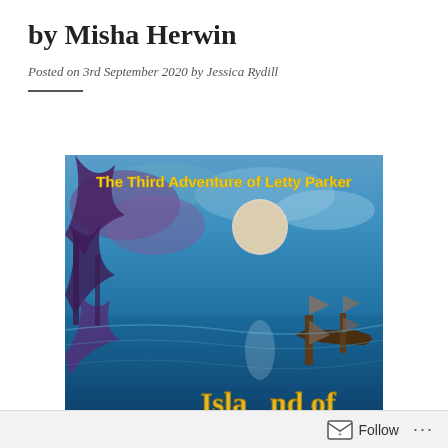by Misha Herwin
Posted on 3rd September 2020 by Jessica Rydill
[Figure (illustration): Book cover for 'The Third Adventure of Letty Parker' by Misha Herwin, showing a painted night scene with blue tones, a large moon, tropical trees, a sailing ship on water, and yellow text reading 'Island of...' at the bottom.]
Follow